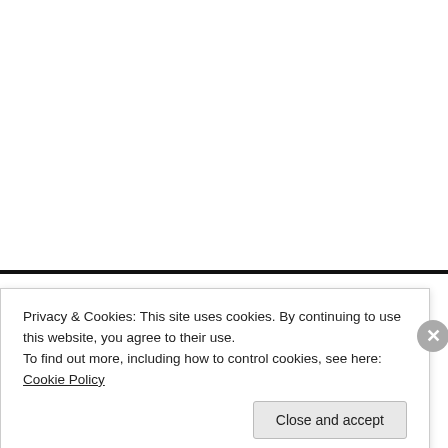ALL THE CATAGORIES
"ONE WHO KNOWS"
Privacy & Cookies: This site uses cookies. By continuing to use this website, you agree to their use.
To find out more, including how to control cookies, see here: Cookie Policy
Close and accept